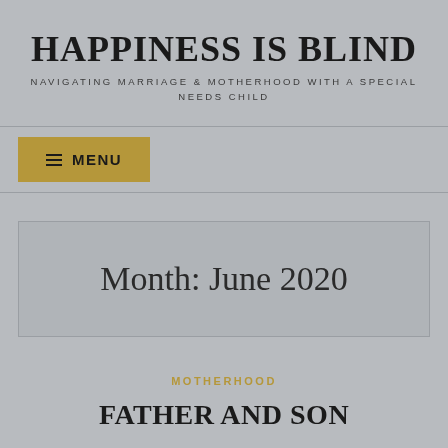HAPPINESS IS BLIND
NAVIGATING MARRIAGE & MOTHERHOOD WITH A SPECIAL NEEDS CHILD
≡ MENU
Month: June 2020
MOTHERHOOD
FATHER AND SON